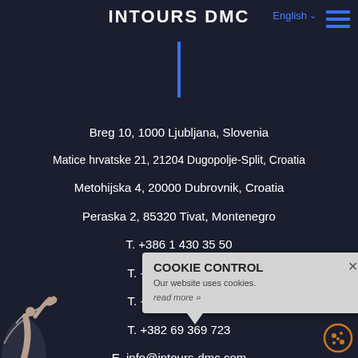INTOURS DMC
English ∨
[Figure (other): Hamburger menu icon (three horizontal blue lines)]
[Figure (other): Vertical blue divider bar]
Breg 10, 1000 Ljubljana, Slovenia
Matice hrvatske 21, 21204 Dugopolje-Split, Croatia
Metohijska 4, 20000 Dubrovnik, Croatia
Peraska 2, 85320 Tivat, Montenegro
T. +386 1 430 35 50
T. +385 21 486 549
T. +385 20 416 140
T. +382 69 369 723
E. info@intours-dmc.com
COOKIE CONTROL
Our website uses cookies.
read more »
[Figure (other): Cookie icon (circular cookie with dots)]
[Figure (photo): Partial figure of a person with raised hand at bottom left]